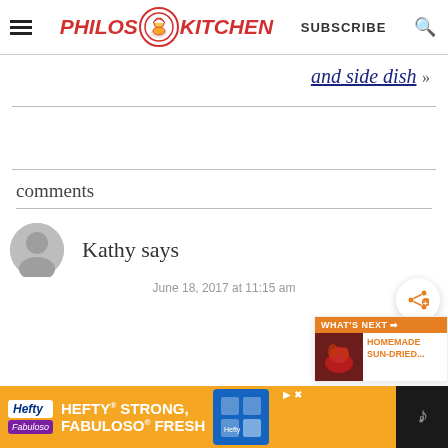[Figure (logo): Philos Kitchen website header with hamburger menu, logo, SUBSCRIBE text, and search icon]
and side dish »
comments
Kathy says
June 18, 2017 at 11:15 am
[Figure (infographic): WHAT'S NEXT arrow — HOMEMADE SUN-DRIED... promotional box with orange header and food image]
[Figure (screenshot): Hefty Strong, Fabuloso Fresh advertisement banner at bottom of page]